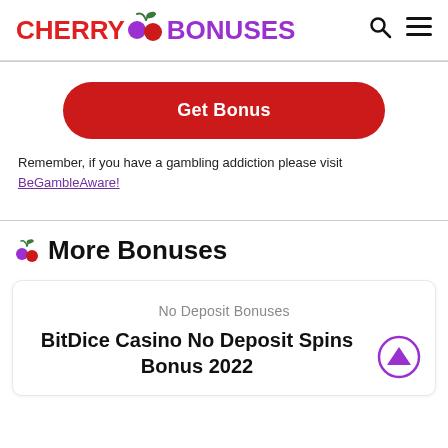CHERRY BONUSES
Get Bonus
Remember, if you have a gambling addiction please visit BeGambleAware!
More Bonuses
No Deposit Bonuses
BitDice Casino No Deposit Spins Bonus 2022